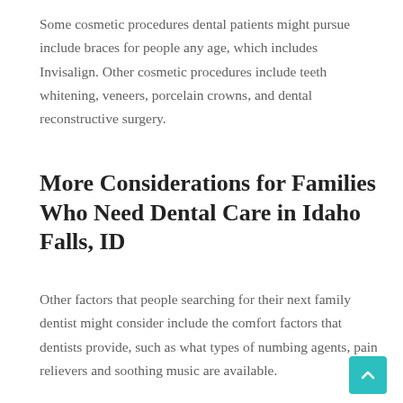Some cosmetic procedures dental patients might pursue include braces for people any age, which includes Invisalign. Other cosmetic procedures include teeth whitening, veneers, porcelain crowns, and dental reconstructive surgery.
More Considerations for Families Who Need Dental Care in Idaho Falls, ID
Other factors that people searching for their next family dentist might consider include the comfort factors that dentists provide, such as what types of numbing agents, pain relievers and soothing music are available.